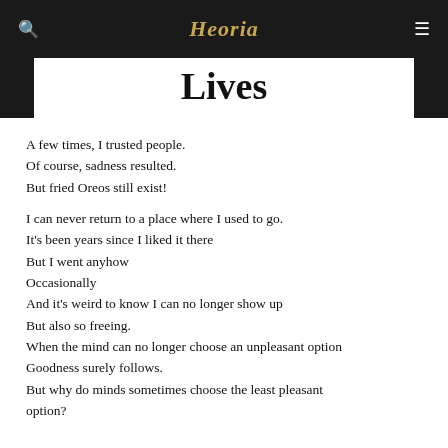Heoria
Lives
A few times, I trusted people.
Of course, sadness resulted.
But fried Oreos still exist!

I can never return to a place where I used to go.
It's been years since I liked it there
But I went anyhow
Occasionally
And it's weird to know I can no longer show up
But also so freeing.
When the mind can no longer choose an unpleasant option
Goodness surely follows.
But why do minds sometimes choose the least pleasant option?